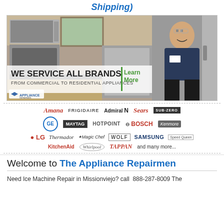Shipping)
[Figure (photo): Appliance repair company advertisement banner showing kitchen appliances and a repairman in uniform. Text reads: WE SERVICE ALL BRANDS | Learn More | FROM COMMERCIAL TO RESIDENTIAL APPLIANCES. The Appliance Repairmen logo visible.]
[Figure (infographic): Grid of appliance brand logos: Amana, Frigidaire, Admiral, Sears, Sub-Zero, GE, Maytag, Hotpoint, Bosch, Kenmore, LG, Thermador, Magic Chef, Wolf, Samsung, Speed Queen, KitchenAid, Whirlpool, Tappan, and many more...]
Welcome to The Appliance Repairmen
Need Ice Machine Repair in Missionviejo? call  888-287-8009 The